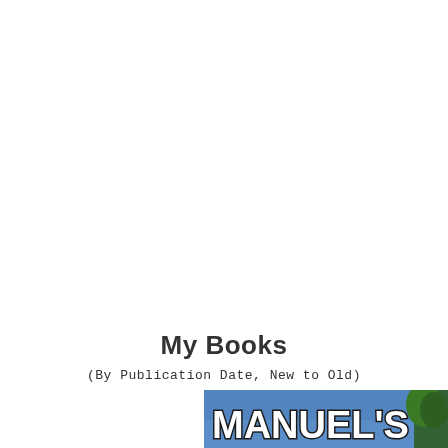My Books
(By Publication Date, New to Old)
[Figure (photo): Partial book cover showing text 'MANUEL'S' in large white letters with a dark outline against a blue sky background with a tree visible on the right side.]